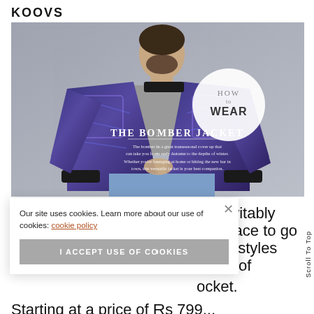KOOVS
[Figure (photo): Man wearing a printed bomber jacket in blue/purple geometric print over grey t-shirt and light jeans, posed against grey background. Text overlay on right: circle badge 'HOW to WEAR', large headline 'THE BOMBER JACKET', subtext about the bomber jacket being a great transeasonal cover up.]
inevitably
nt place to go
street styles
ariety of
ocket.
Our site uses cookies. Learn more about our use of cookies: cookie policy
I ACCEPT USE OF COOKIES
Scroll To Top
Starting at a price of Rs 799...